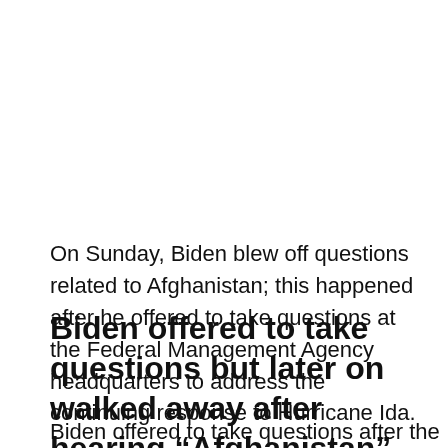On Sunday, Biden blew off questions related to Afghanistan; this happened after he offered to take questions at the Federal Management Agency headquarters to address the continuing response to Hurricane Ida.
Biden offered to take questions but later on walked away after hearing “Afghanistan”
Biden offered to take questions after the